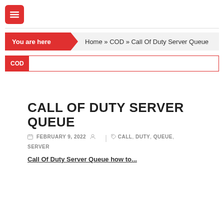Menu icon
You are here  Home » COD » Call Of Duty Server Queue
COD
CALL OF DUTY SERVER QUEUE
FEBRUARY 9, 2022   CALL, DUTY, QUEUE, SERVER
Call Of Duty Server Queue how to...